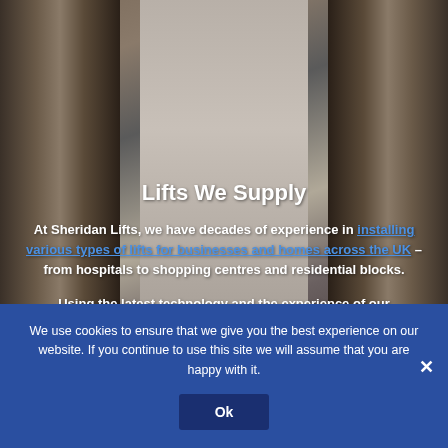[Figure (photo): Background photo of elevator/lift doors in a lobby, with metallic doors on left and right and a central grey panel.]
Lifts We Supply
At Sheridan Lifts, we have decades of experience in installing various types of lifts for businesses and homes across the UK – from hospitals to shopping centres and residential blocks.
Using the latest technology and the experience of our knowledgeable team, we are able to install the following lifts for our customers.
We use cookies to ensure that we give you the best experience on our website. If you continue to use this site we will assume that you are happy with it.